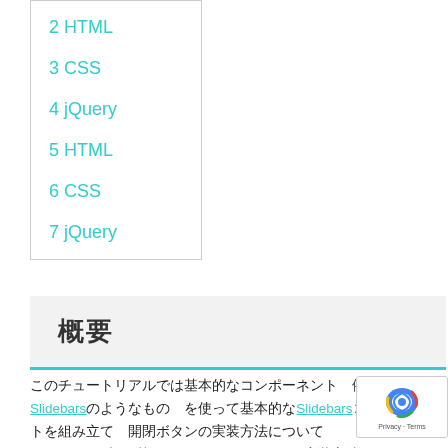2 HTML
3 CSS
4 jQuery
5 HTML
6 CSS
7 jQuery
概要
このチュートリアルでは基本的なコンポーネント　例えばSlidebarsのようなもの　を使って基本的なSlidebarsコンポーネントを組み立て　開閉ボタンの実装方法について　activeとoffを切り替えるCSSセレクタ　CSS実装方法